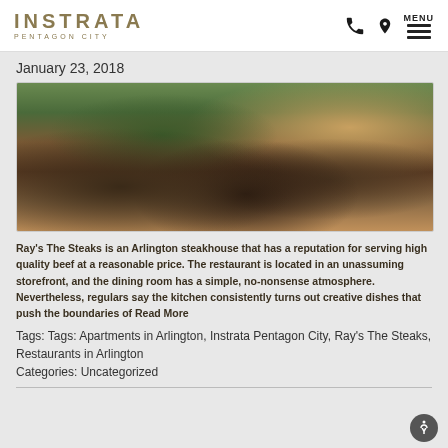INSTRATA PENTAGON CITY — MENU
January 23, 2018
[Figure (photo): Close-up photo of a plated dish featuring sautéed mushrooms garnished with herbs, with carrots, broccoli, a small sauce cup, and a breaded item visible in the background.]
Ray's The Steaks is an Arlington steakhouse that has a reputation for serving high quality beef at a reasonable price. The restaurant is located in an unassuming storefront, and the dining room has a simple, no-nonsense atmosphere. Nevertheless, regulars say the kitchen consistently turns out creative dishes that push the boundaries of Read More
Tags: Tags: Apartments in Arlington, Instrata Pentagon City, Ray's The Steaks, Restaurants in Arlington
Categories: Uncategorized